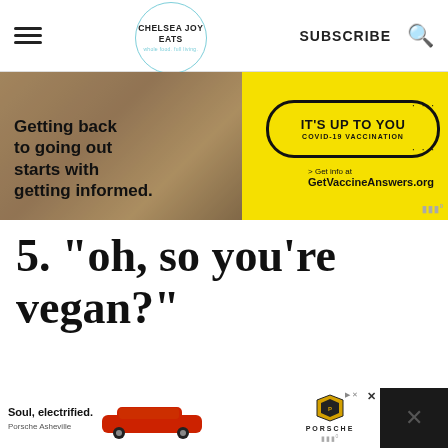Chelsea Joy Eats — SUBSCRIBE
[Figure (photo): Advertisement banner: COVID-19 vaccination ad. Left half shows a person sitting with text 'Getting back to going out starts with getting informed.' Right half is yellow with 'IT'S UP TO YOU COVID-19 VACCINATION' in a pill shape and '> Get info at GetVaccineAnswers.org' below.]
5. "oh, so you're vegan?"
[Figure (photo): Bottom advertisement bar. Left side white: 'Soul, electrified. Porsche Asheville' with red Porsche Taycan car image. Right side shows Porsche shield logo, 'PORSCHE' text, ad badges and close button.]